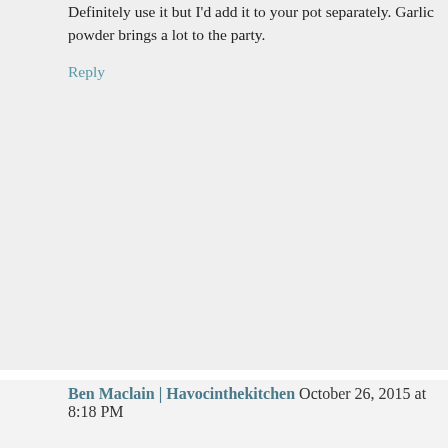Definitely use it but I'd add it to your pot separately. Garlic powder brings a lot to the party.
Reply
Ben Maclain | Havocinthekitchen October 26, 2015 at 8:18 PM